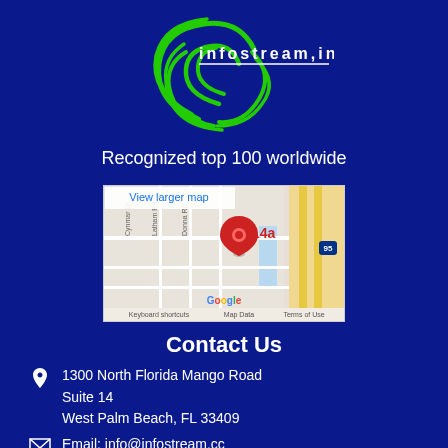[Figure (logo): Infostream Inc. logo with green swirl/wave graphic and white text 'infostream,inc.' with underline]
Recognized top 100 worldwide
[Figure (map): Google Maps screenshot showing location at 14a, West Palm Beach area near I-95, with red pin marker, 'View larger map' button, Google branding, and map credits]
Contact Us
1300 North Florida Mango Road
Suite 14
West Palm Beach, FL 33409
Email: info@infostream.cc
Phone: 561-968-0046